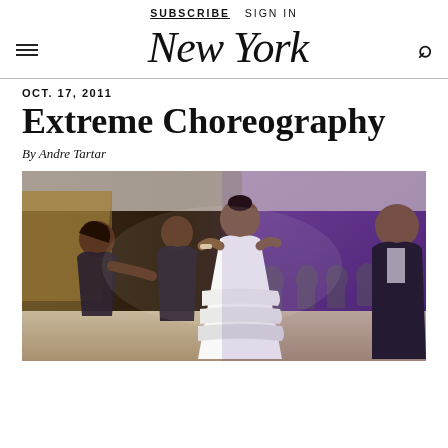SUBSCRIBE  SIGN IN
New York
OCT. 17, 2011
Extreme Choreography
By Andre Tartar
[Figure (photo): A bride in a white ruffled wedding gown performing a choreographed dance with two bridesmaids in dark dresses at a wedding reception. Guests watch in the background in a purple-lit venue.]